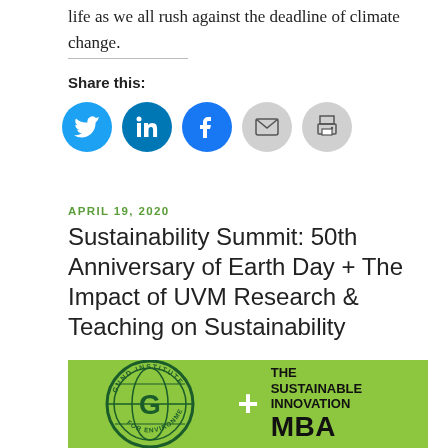life as we all rush against the deadline of climate change.
Share this:
[Figure (other): Social share buttons: Twitter (blue circle), LinkedIn (blue circle), Facebook (blue circle), Email (grey circle), Print (grey circle)]
APRIL 19, 2020
Sustainability Summit: 50th Anniversary of Earth Day + The Impact of UVM Research & Teaching on Sustainability
[Figure (illustration): Green banner image showing Gund Institute for Environment circular logo on left, a white plus sign in the center, and text reading THE SUSTAINABLE INNOVATION MBA on the right, all on a bright green background.]